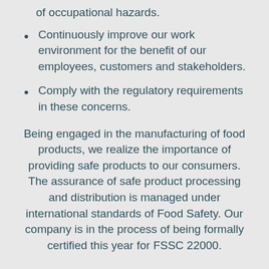of occupational hazards.
Continuously improve our work environment for the benefit of our employees, customers and stakeholders.
Comply with the regulatory requirements in these concerns.
Being engaged in the manufacturing of food products, we realize the importance of providing safe products to our consumers. The assurance of safe product processing and distribution is managed under international standards of Food Safety. Our company is in the process of being formally certified this year for FSSC 22000.